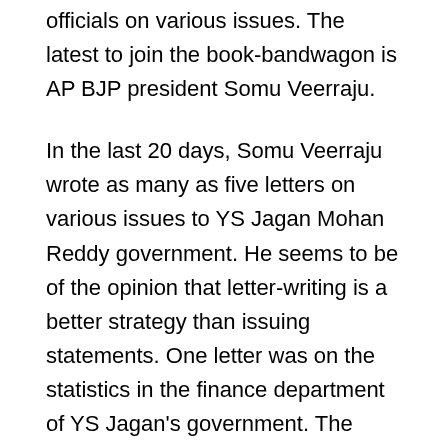officials on various issues. The latest to join the book-bandwagon is AP BJP president Somu Veerraju.
In the last 20 days, Somu Veerraju wrote as many as five letters on various issues to YS Jagan Mohan Reddy government. He seems to be of the opinion that letter-writing is a better strategy than issuing statements. One letter was on the statistics in the finance department of YS Jagan's government. The second was on the contributory pension scheme. The third was on the restrictions on the Ganesha festival. Then he wrote about the lifting of police cases against some questionable politicians. The latest is about the problems being faced by the fisher-folk in AP.
Both Somu Veerraju and the AP BJP feel that these letters are having the desired effect. They feel that the government was responding to the letters. The party is of